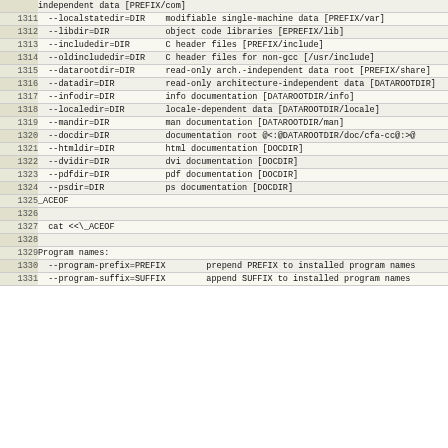| Line | Code |
| --- | --- |
|  | independent data [PREFIX/com] |
| 1311 |   --localstatedir=DIR    modifiable single-machine data [PREFIX/var] |
| 1312 |   --libdir=DIR           object code libraries [EPREFIX/lib] |
| 1313 |   --includedir=DIR       C header files [PREFIX/include] |
| 1314 |   --oldincludedir=DIR    C header files for non-gcc [/usr/include] |
| 1315 |   --datarootdir=DIR      read-only arch.-independent data root [PREFIX/share] |
| 1316 |   --datadir=DIR          read-only architecture-independent data [DATAROOTDIR] |
| 1317 |   --infodir=DIR          info documentation [DATAROOTDIR/info] |
| 1318 |   --localedir=DIR        locale-dependent data [DATAROOTDIR/locale] |
| 1319 |   --mandir=DIR           man documentation [DATAROOTDIR/man] |
| 1320 |   --docdir=DIR           documentation root @<:@DATAROOTDIR/doc/cfa-cc@:>@ |
| 1321 |   --htmldir=DIR          html documentation [DOCDIR] |
| 1322 |   --dvidir=DIR           dvi documentation [DOCDIR] |
| 1323 |   --pdfdir=DIR           pdf documentation [DOCDIR] |
| 1324 |   --psdir=DIR            ps documentation [DOCDIR] |
| 1325 | _ACEOF |
| 1326 |  |
| 1327 |   cat <<\_ACEOF |
| 1328 |  |
| 1329 | Program names: |
| 1330 |   --program-prefix=PREFIX        prepend PREFIX to installed program names |
| 1331 |   --program-suffix=SUFFIX        append SUFFIX to installed program names |